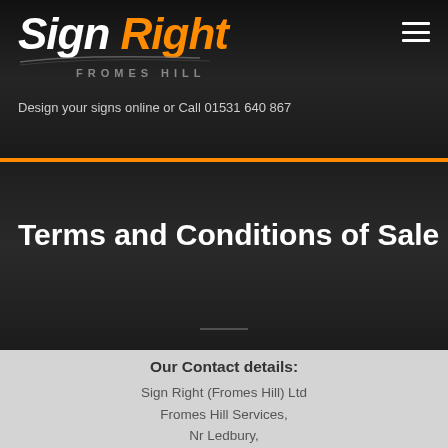Sign Right Fromes Hill — Design your signs online or Call 01531 640 867
Terms and Conditions of Sale
Our Contact details:
Sign Right (Fromes Hill) Ltd
Fromes Hill Services,
Nr Ledbury,
Herefordshire. HR8 1HT